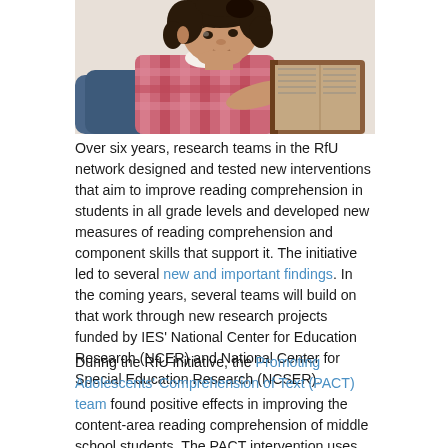[Figure (photo): A young girl with curly hair lying on her stomach reading a large book, wearing a plaid shirt]
Over six years, research teams in the RfU network designed and tested new interventions that aim to improve reading comprehension in students in all grade levels and developed new measures of reading comprehension and component skills that support it. The initiative led to several new and important findings. In the coming years, several teams will build on that work through new research projects funded by IES' National Center for Education Research (NCER) and National Center for Special Education Research (NCSER).
During the RfU initiative, the Promoting Adolescents' Comprehension of Text (PACT) team found positive effects in improving the content-area reading comprehension of middle school students. The PACT intervention uses social studies content